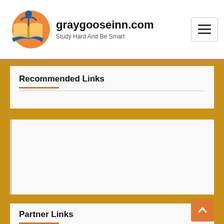graygooseinn.com — Study Hard And Be Smart
Recommended Links
[Figure (other): Empty content card with left border accent]
Partner Links